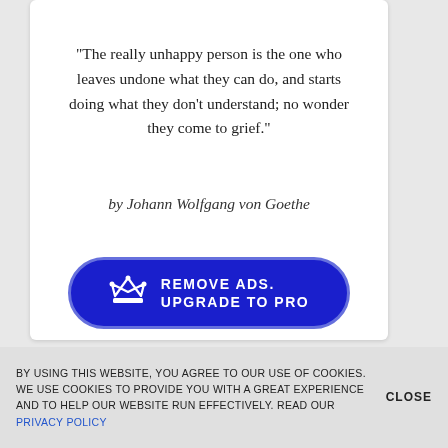“The really unhappy person is the one who leaves undone what they can do, and starts doing what they don’t understand; no wonder they come to grief.”
by Johann Wolfgang von Goethe
[Figure (other): Button with crown icon and text REMOVE ADS. UPGRADE TO PRO on dark blue rounded rectangle.]
BY USING THIS WEBSITE, YOU AGREE TO OUR USE OF COOKIES. WE USE COOKIES TO PROVIDE YOU WITH A GREAT EXPERIENCE AND TO HELP OUR WEBSITE RUN EFFECTIVELY. READ OUR PRIVACY POLICY
CLOSE